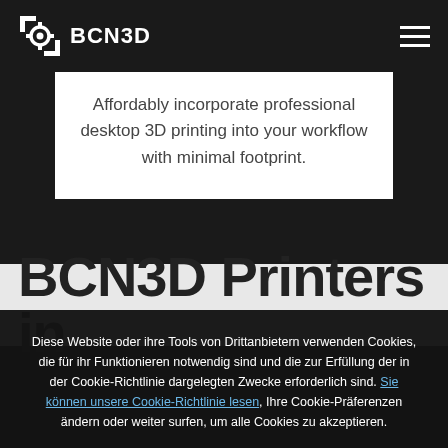BCN3D
Affordably incorporate professional desktop 3D printing into your workflow with minimal footprint.
BCN3D Printers in
Diese Website oder ihre Tools von Drittanbietern verwenden Cookies, die für ihr Funktionieren notwendig sind und die zur Erfüllung der in der Cookie-Richtlinie dargelegten Zwecke erforderlich sind. Sie können unsere Cookie-Richtlinie lesen, Ihre Cookie-Präferenzen ändern oder weiter surfen, um alle Cookies zu akzeptieren.
Ich akzeptiere